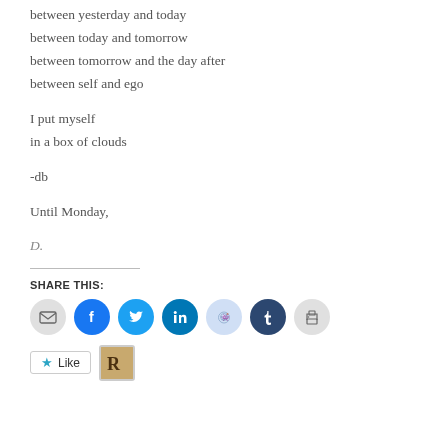between yesterday and today
between today and tomorrow
between tomorrow and the day after
between self and ego
I put myself
in a box of clouds
-db
Until Monday,
D.
SHARE THIS:
[Figure (infographic): Row of social share icon circles: email (grey), Facebook (blue), Twitter (light blue), LinkedIn (dark blue), Reddit (very light blue), Tumblr (dark navy), Print (grey)]
[Figure (infographic): Like button with star icon and text 'Like', plus a small avatar thumbnail showing the letter R]